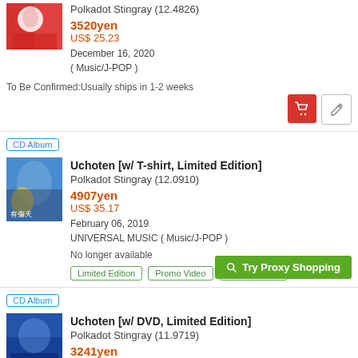Polkadot Stingray (12.4826)
3520yen
US$ 25.23
December 16, 2020
( Music/J-POP )
To Be Confirmed:Usually ships in 1-2 weeks
CD Album
Uchoten [w/ T-shirt, Limited Edition]
Polkadot Stingray (12.0910)
4907yen
US$ 35.17
February 06, 2019
UNIVERSAL MUSIC ( Music/J-POP )
No longer available
Limited Edition
Promo Video
Audio Sample
Try Proxy Shopping
CD Album
Uchoten [w/ DVD, Limited Edition]
Polkadot Stingray (11.9719)
3241yen
US$ 23.23